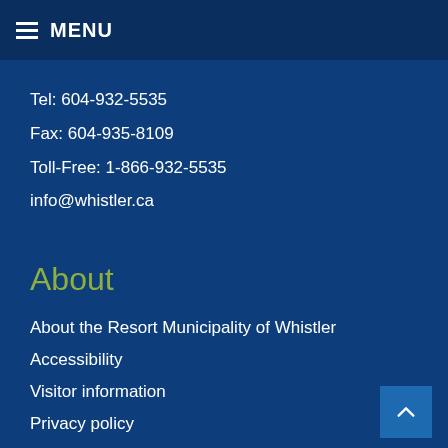MENU
Tel: 604-932-5535
Fax: 604-935-8109
Toll-Free: 1-866-932-5535
info@whistler.ca
About
About the Resort Municipality of Whistler
Accessibility
Visitor information
Privacy policy
Connect
Stay informed
Newsletter subscription